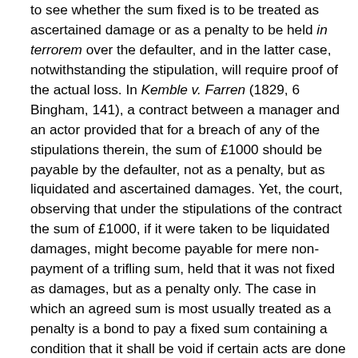to see whether the sum fixed is to be treated as ascertained damage or as a penalty to be held in terrorem over the defaulter, and in the latter case, notwithstanding the stipulation, will require proof of the actual loss. In Kemble v. Farren (1829, 6 Bingham, 141), a contract between a manager and an actor provided that for a breach of any of the stipulations therein, the sum of £1000 should be payable by the defaulter, not as a penalty, but as liquidated and ascertained damages. Yet, the court, observing that under the stipulations of the contract the sum of £1000, if it were taken to be liquidated damages, might become payable for mere non-payment of a trifling sum, held that it was not fixed as damages, but as a penalty only. The case in which an agreed sum is most usually treated as a penalty is a bond to pay a fixed sum containing a condition that it shall be void if certain acts are done or a certain smaller sum paid. Another case is where a single lump sum is fixed as the liquidated amount